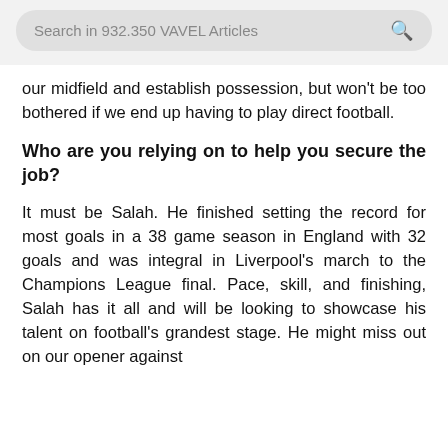Search in 932.350 VAVEL Articles
our midfield and establish possession, but won't be too bothered if we end up having to play direct football.
Who are you relying on to help you secure the job?
It must be Salah. He finished setting the record for most goals in a 38 game season in England with 32 goals and was integral in Liverpool's march to the Champions League final. Pace, skill, and finishing, Salah has it all and will be looking to showcase his talent on football's grandest stage. He might miss out on our opener against